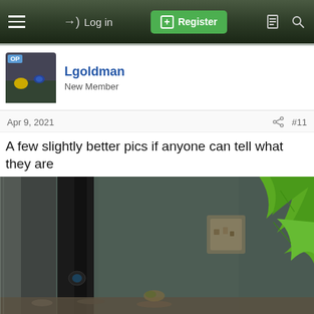Log in | Register
Lgoldman
New Member
Apr 9, 2021  #11
A few slightly better pics if anyone can tell what they are
[Figure (photo): Aquarium photo showing a dark filter tube/pipe on the left side and a bright green plastic plant leaf on the right side, with a glass tank wall, gravel at bottom, and some aquarium objects in background.]
Forums  What's New  Log In  Register  Search